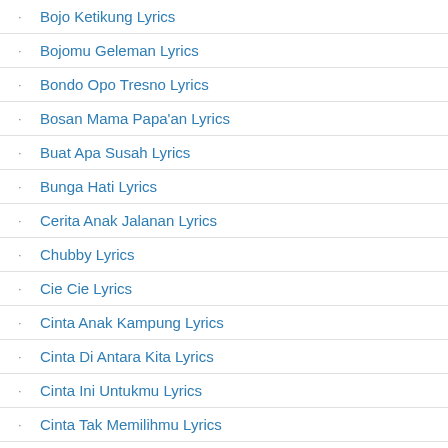Bojo Ketikung Lyrics
Bojomu Geleman Lyrics
Bondo Opo Tresno Lyrics
Bosan Mama Papa'an Lyrics
Buat Apa Susah Lyrics
Bunga Hati Lyrics
Cerita Anak Jalanan Lyrics
Chubby Lyrics
Cie Cie Lyrics
Cinta Anak Kampung Lyrics
Cinta Di Antara Kita Lyrics
Cinta Ini Untukmu Lyrics
Cinta Tak Memilihmu Lyrics
Cinta Terlarang Lyrics
Cukup Dono Jour Lyrics